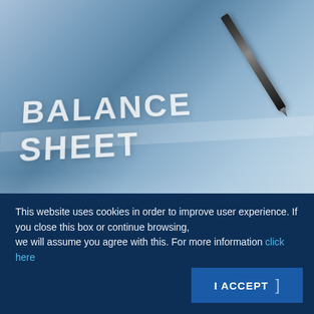[Figure (photo): Close-up photo of a balance sheet document with a pen resting on it, blue-toned. Large text reads 'BALANCE SHEET' on the document.]
BLOM Bank published on 31/1/2022 its consolidated, but un-audited, financial results for year 2021. The results obtained were naturally affected by the impact of the financial and economic crisis that has ...
read more
This website uses cookies in order to improve user experience. If you close this box or continue browsing,
we will assume you agree with this. For more information click here
I ACCEPT